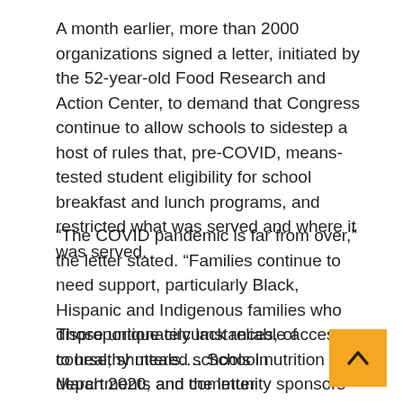A month earlier, more than 2000 organizations signed a letter, initiated by the 52-year-old Food Research and Action Center, to demand that Congress continue to allow schools to sidestep a host of rules that, pre-COVID, means-tested student eligibility for school breakfast and lunch programs, and restricted what was served and where it was served.
“The COVID pandemic is far from over,” the letter stated. “Families continue to need support, particularly Black, Hispanic and Indigenous families who disproportionately lack reliable access to healthy meals…. School nutrition departments and community sponsors still struggle to operate under the unique circumstances created by the pandemic.”
Those unique circumstances, of course, shuttered schools in March 2020, and the letter reminded lawmakers that because of the unprecedented health crisis, Congress gave the U.S. Department of Agriculture